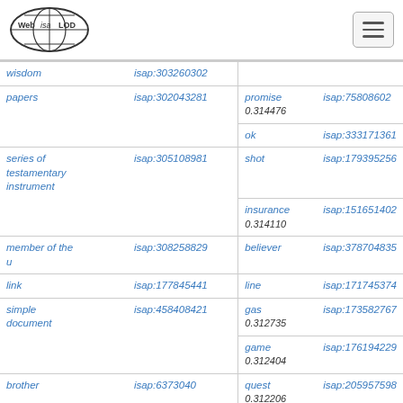Web isa LOD [logo] [hamburger menu]
| term | isap id | related term | isap id |
| --- | --- | --- | --- |
| wisdom | isap:303260302 |  |  |
| papers | isap:302043281 | promise
0.314476 | isap:75808602 |
|  |  | ok | isap:333171361 |
| series of testamentary instrument | isap:305108981 | shot | isap:179395256 |
|  |  | insurance
0.314110 | isap:151651402 |
| member of the u | isap:308258829 | believer | isap:378704835 |
| link | isap:177845441 | line | isap:171745374 |
| simple document | isap:458408421 | gas
0.312735 | isap:173582767 |
|  |  | game
0.312404 | isap:176194229 |
| brother | isap:6373040 | quest
0.312206 | isap:205957598 |
| advance care directive | isap:285348550 | book | isap:174602445 |
| member of the | isap:308258821 | 0.312232 | isap:178017250 |